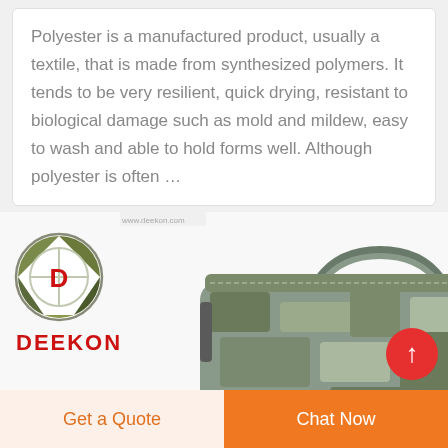Polyester is a manufactured product, usually a textile, that is made from synthesized polymers. It tends to be very resilient, quick drying, resistant to biological damage such as mold and mildew, easy to wash and able to hold forms well. Although polyester is often …
[Figure (photo): A camouflage tactical military bag/backpack with multiple compartments and straps, displayed against a white background. The DEEKON brand logo is visible in the top-left of the image — a circular camouflage emblem with a red 'D' and the word DEEKON in red below it.]